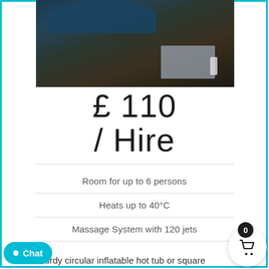[Figure (photo): Photo of a hot tub on a wooden deck with a blue inflatable tub, dark wood flooring, a light-colored mat and some decor items visible]
£ 110
/ Hire
Room for up to 6 persons
Heats up to 40°C
Massage System with 120 jets
Sturdy circular inflatable hot tub or square